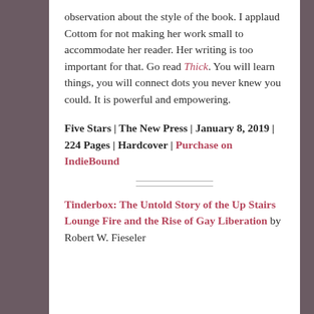observation about the style of the book. I applaud Cottom for not making her work small to accommodate her reader. Her writing is too important for that. Go read Thick. You will learn things, you will connect dots you never knew you could. It is powerful and empowering.
Five Stars | The New Press | January 8, 2019 | 224 Pages | Hardcover | Purchase on IndieBound
Tinderbox: The Untold Story of the Up Stairs Lounge Fire and the Rise of Gay Liberation by Robert W. Fieseler